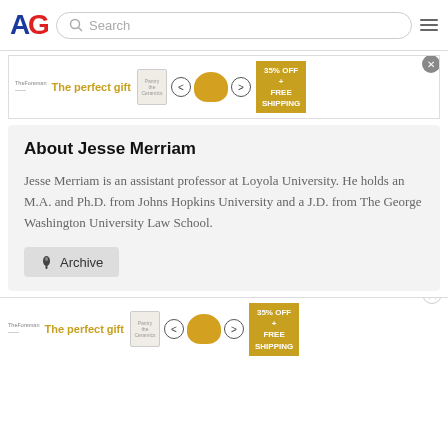AG [logo] Search [hamburger menu]
[Figure (screenshot): Advertisement banner: 'The perfect gift' with bowl image, navigation arrows, and '35% OFF + FREE SHIPPING' promo badge, with close button]
About Jesse Merriam
Jesse Merriam is an assistant professor at Loyola University. He holds an M.A. and Ph.D. from Johns Hopkins University and a J.D. from The George Washington University Law School.
Archive
[Figure (screenshot): Bottom advertisement banner: 'The perfect gift' with bowl image, navigation arrows, and '35% OFF + FREE SHIPPING' promo badge, with close X button]